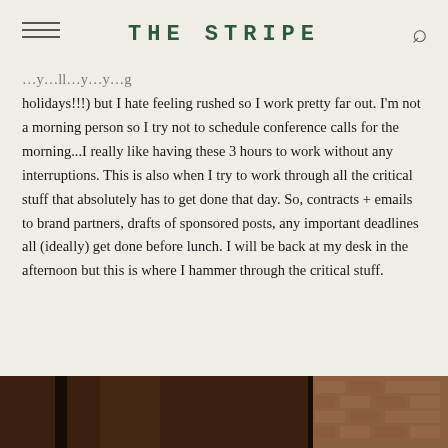THE STRIPE
holidays!!!) but I hate feeling rushed so I work pretty far out. I'm not a morning person so I try not to schedule conference calls for the morning...I really like having these 3 hours to work without any interruptions. This is also when I try to work through all the critical stuff that absolutely has to get done that day. So, contracts + emails to brand partners, drafts of sponsored posts, any important deadlines all (ideally) get done before lunch. I will be back at my desk in the afternoon but this is where I hammer through the critical stuff.
[Figure (photo): Dark interior photo showing wooden elements and brick wall]